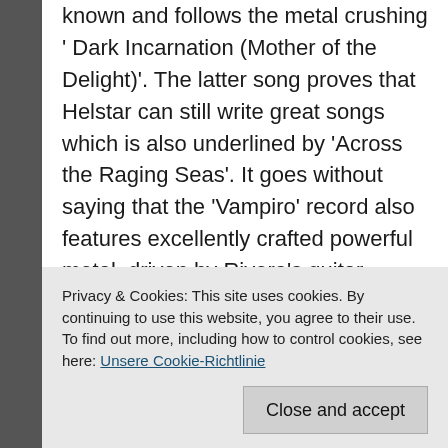anthemic 'Black Wings of Solitude' is already known and follows the metal crushing ' Dark Incarnation (Mother of the Delight)'. The latter song proves that Helstar can still write great songs which is also underlined by 'Across the Raging Seas'. It goes without saying that the 'Vampiro' record also features excellently crafted powerful metal, driven by Rivera's guitar.

With cover versions it is as always, known songs that one likes to hear, but also has heard many times. Helstar stick pretty much to the original versions, not more but also not less. 'Clad in Black' is a release fans of solid power metal appreciate a
Privacy & Cookies: This site uses cookies. By continuing to use this website, you agree to their use.
To find out more, including how to control cookies, see here: Unsere Cookie-Richtlinie